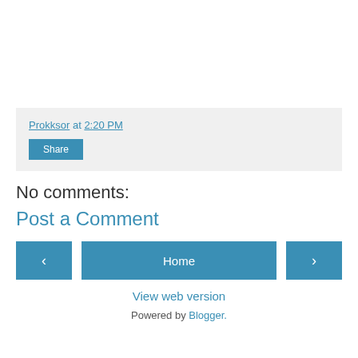Prokksor at 2:20 PM
Share
No comments:
Post a Comment
‹
Home
›
View web version
Powered by Blogger.